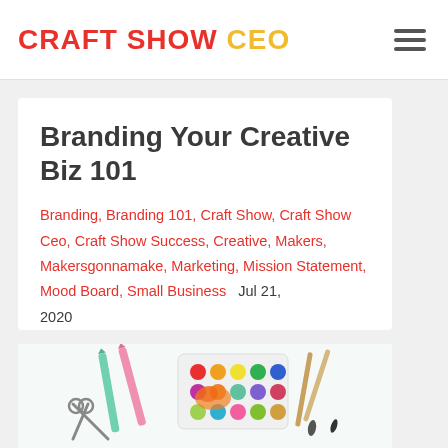CRAFT SHOW CEO
Branding Your Creative Biz 101
Branding, Branding 101, Craft Show, Craft Show Ceo, Craft Show Success, Creative, Makers, Makersgonnamake, Marketing, Mission Statement, Mood Board, Small Business   Jul 21, 2020
[Figure (photo): Art supplies including watercolor paint set, brushes, and colored pencils on a white background]